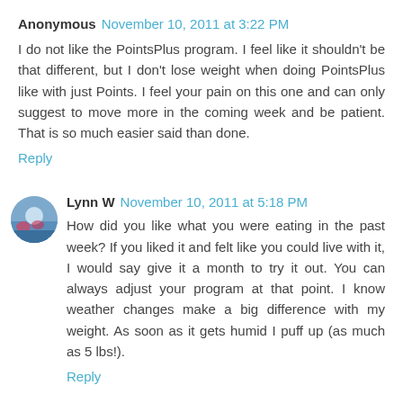Anonymous November 10, 2011 at 3:22 PM
I do not like the PointsPlus program. I feel like it shouldn't be that different, but I don't lose weight when doing PointsPlus like with just Points. I feel your pain on this one and can only suggest to move more in the coming week and be patient. That is so much easier said than done.
Reply
Lynn W November 10, 2011 at 5:18 PM
How did you like what you were eating in the past week? If you liked it and felt like you could live with it, I would say give it a month to try it out. You can always adjust your program at that point. I know weather changes make a big difference with my weight. As soon as it gets humid I puff up (as much as 5 lbs!).
Reply